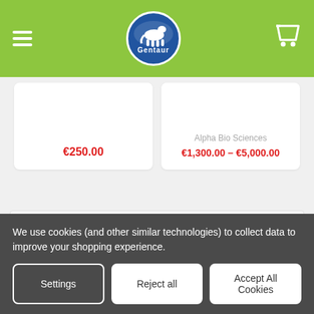[Figure (logo): Gentaur logo - blue circle with animal silhouette and brand name, on green navigation bar with hamburger menu and cart icon]
€250.00
Alpha Bio Sciences
€1,300.00 – €5,000.00
POPULAR BRANDS
RECENT POSTS
Your first blog post!
We use cookies (and other similar technologies) to collect data to improve your shopping experience.
Settings  Reject all  Accept All Cookies